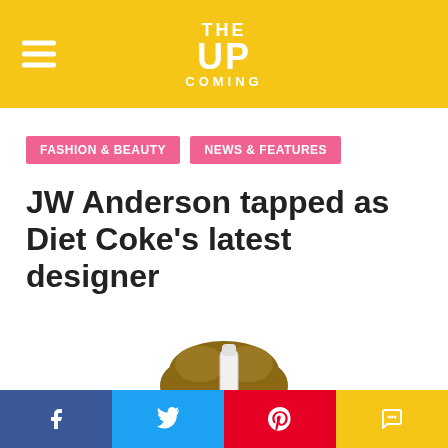THE UP COMING
FASHION & BEAUTY   NEWS & FEATURES
JW Anderson tapped as Diet Coke's latest designer
[Figure (photo): A man holding a Diet Coke bottle in front of his face against a white background with the Diet Coke logo visible]
Facebook | Twitter | Pinterest | Comments